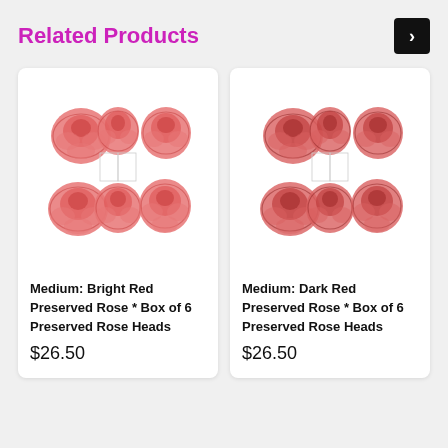Related Products
[Figure (photo): Medium: Bright Red Preserved Rose - box of 6 preserved rose heads, shown as a grid of 6 pink-red roses]
Medium: Bright Red Preserved Rose * Box of 6 Preserved Rose Heads
$26.50
[Figure (photo): Medium: Dark Red Preserved Rose - box of 6 preserved rose heads, shown as a grid of 6 darker pink-red roses]
Medium: Dark Red Preserved Rose * Box of 6 Preserved Rose Heads
$26.50